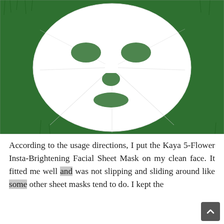[Figure (photo): A white facial sheet mask laid flat on green artificial grass. The mask has cutouts for eyes, nose and mouth, showing the green background beneath. The mask is circular/oval in shape with fold lines radiating from the center.]
According to the usage directions, I put the Kaya 5-Flower Insta-Brightening Facial Sheet Mask on my clean face. It fitted me well and was not slipping and sliding around like some other sheet masks tend to do. I kept the